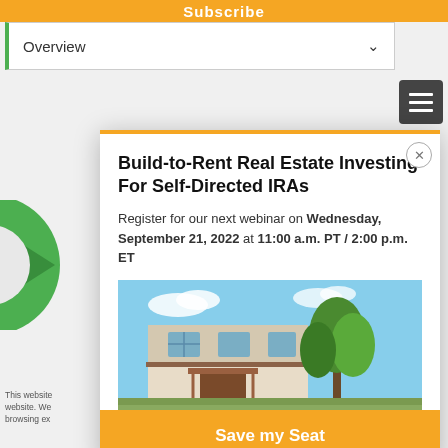Subscribe
Overview
Build-to-Rent Real Estate Investing For Self-Directed IRAs
Register for our next webinar on Wednesday, September 21, 2022 at 11:00 a.m. PT / 2:00 p.m. ET
[Figure (photo): Exterior of a residential build-to-rent property, two-story stucco house with tile roof and trees against a blue sky]
Save my Seat
This website... website. We... browsing ex...